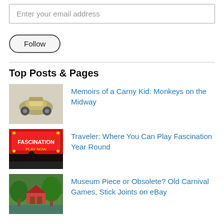Enter your email address
Follow
Top Posts & Pages
Memoirs of a Carny Kid: Monkeys on the Midway
Traveler: Where You Can Play Fascination Year Round
Museum Piece or Obsolete? Old Carnival Games, Stick Joints on eBay